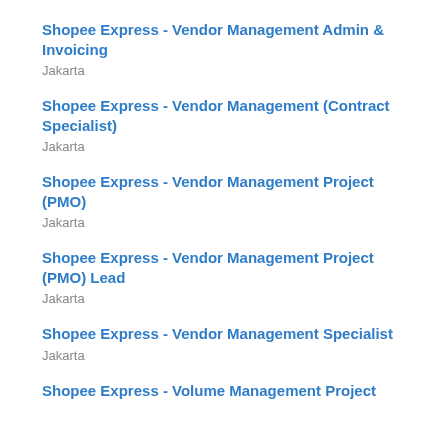Shopee Express - Vendor Management Admin & Invoicing
Jakarta
Shopee Express - Vendor Management (Contract Specialist)
Jakarta
Shopee Express - Vendor Management Project (PMO)
Jakarta
Shopee Express - Vendor Management Project (PMO) Lead
Jakarta
Shopee Express - Vendor Management Specialist
Jakarta
Shopee Express - Volume Management Project